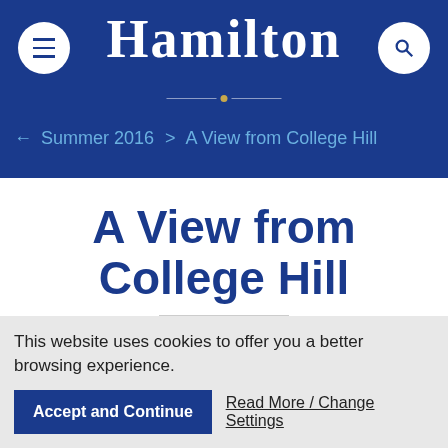Hamilton
← Summer 2016 > A View from College Hill
A View from College Hill
In This Section
This website uses cookies to offer you a better browsing experience.
Accept and Continue
Read More / Change Settings